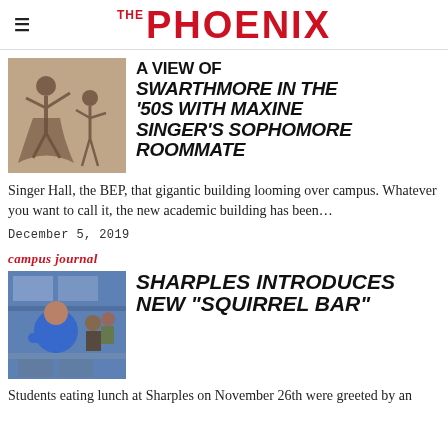THE PHOENIX
[Figure (photo): Black and white photo of two women dancing, one in a full skirt with arms extended]
A VIEW OF SWARTHMORE IN THE '50S WITH MAXINE SINGER'S SOPHOMORE ROOMMATE
Singer Hall, the BEP, that gigantic building looming over campus. Whatever you want to call it, the new academic building has been...
December 5, 2019
campus journal
[Figure (photo): Photo of students eating lunch at Sharples dining hall, person in blue shirt in foreground]
SHARPLES INTRODUCES NEW “SQUIRREL BAR”
Students eating lunch at Sharples on November 26th were greeted by an